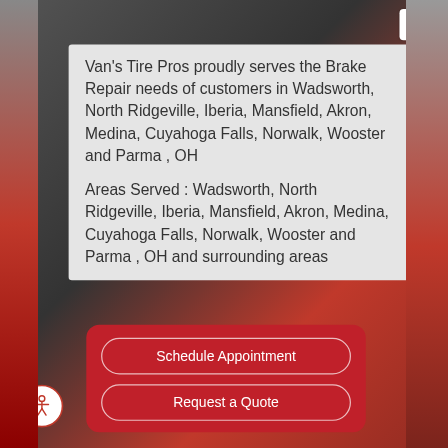Van's Tire Pros proudly serves the Brake Repair needs of customers in Wadsworth, North Ridgeville, Iberia, Mansfield, Akron, Medina, Cuyahoga Falls, Norwalk, Wooster and Parma , OH
Areas Served : Wadsworth, North Ridgeville, Iberia, Mansfield, Akron, Medina, Cuyahoga Falls, Norwalk, Wooster and Parma , OH and surrounding areas
Schedule Appointment
Request a Quote